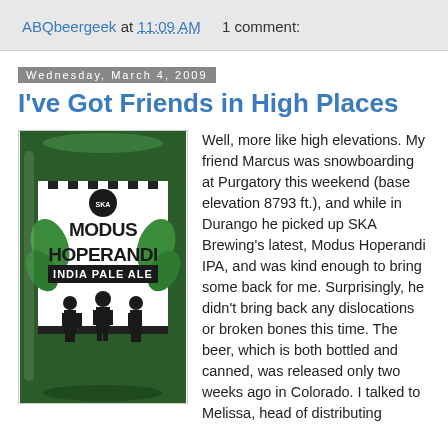ABQbeergeek at 11:09 AM   1 comment:
Wednesday, March 4, 2009
I've Got Friends in High Places
[Figure (photo): Photo of a Modus Hoperandi India Pale Ale beer can by SKA Brewing, showing the distinctive label with three figures in suits and hats against a green hop background]
Well, more like high elevations. My friend Marcus was snowboarding at Purgatory this weekend (base elevation 8793 ft.), and while in Durango he picked up SKA Brewing's latest, Modus Hoperandi IPA, and was kind enough to bring some back for me. Surprisingly, he didn't bring back any dislocations or broken bones this time. The beer, which is both bottled and canned, was released only two weeks ago in Colorado. I talked to Melissa, head of distributing